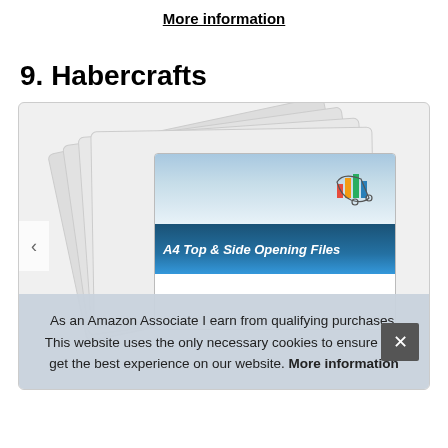More information
9. Habercrafts
[Figure (photo): Product image showing stacked A4 Top & Side Opening Files with HaberCrafts branding, displayed as fanned-out plastic file folders.]
As an Amazon Associate I earn from qualifying purchases. This website uses the only necessary cookies to ensure you get the best experience on our website. More information